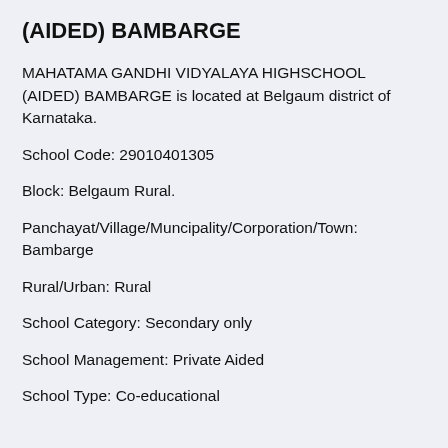(AIDED) BAMBARGE
MAHATAMA GANDHI VIDYALAYA HIGHSCHOOL (AIDED) BAMBARGE is located at Belgaum district of Karnataka.
School Code: 29010401305
Block: Belgaum Rural.
Panchayat/Village/Muncipality/Corporation/Town: Bambarge
Rural/Urban: Rural
School Category: Secondary only
School Management: Private Aided
School Type: Co-educational